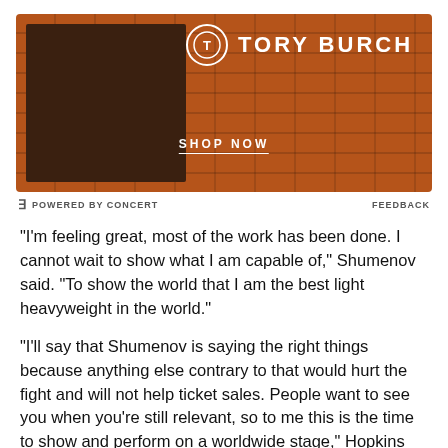[Figure (photo): Tory Burch advertisement banner showing a dark silhouette figure against a brick wall background with Tory Burch logo and SHOP NOW button]
POWERED BY CONCERT   FEEDBACK
"I'm feeling great, most of the work has been done. I cannot wait to show what I am capable of," Shumenov said. "To show the world that I am the best light heavyweight in the world."
"I'll say that Shumenov is saying the right things because anything else contrary to that would hurt the fight and will not help ticket sales. People want to see you when you're still relevant, so to me this is the time to show and perform on a worldwide stage," Hopkins said. "Shumenov wants to make a name for himself by defeating me. All the young guns want to make it big,